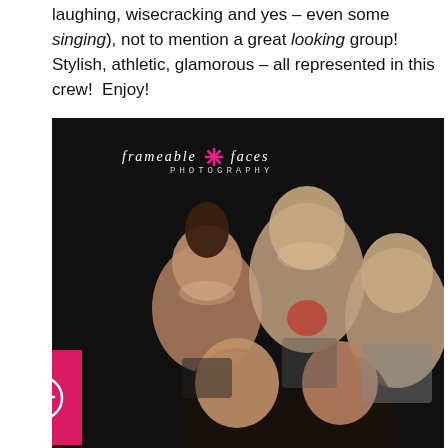laughing, wisecracking and yes – even some singing), not to mention a great looking group!  Stylish, athletic, glamorous – all represented in this crew!  Enjoy!
[Figure (photo): Group portrait of six young people smiling against a black background, photographed by Frameable Faces Photography. A pink accessibility icon overlay appears on the left side.]
This site uses cookies. By continuing to browse the site, you are agreeing to our use of cookies.
Ok
Shares